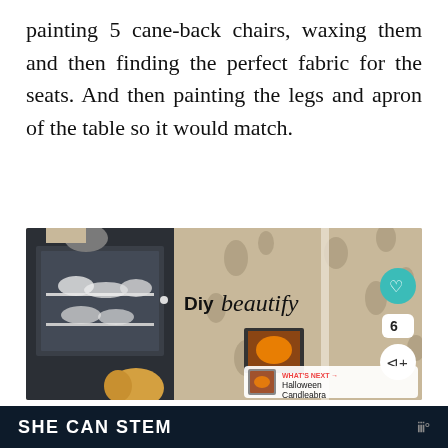painting 5 cane-back chairs, waxing them and then finding the perfect fabric for the seats. And then painting the legs and apron of the table so it would match.
[Figure (photo): Interior photo of a dark hutch/cabinet with white dishware, pumpkin decorations, and stenciled curtains. Overlaid with 'Diy beautify' watermark, a teal heart button, share button, count badge showing 6, and a 'What's Next - Halloween Candleabra' thumbnail overlay.]
SHE CAN STEM